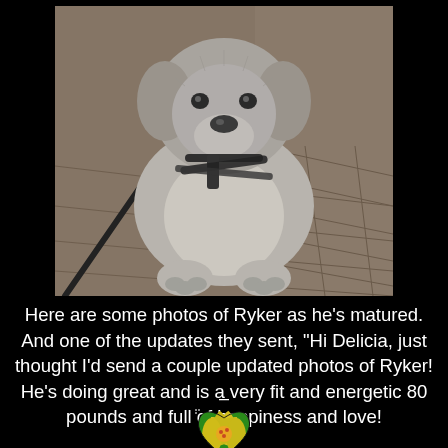[Figure (photo): A large fluffy gray dog sitting on brick pavement, wearing a harness with a leash attached, viewed from the front]
Here are some photos of Ryker as he's matured.  And one of the updates they sent, “Hi Delicia, just thought I’d send a couple updated photos of Ryker!  He’s doing great and is a very fit and energetic 80 pounds and full of happiness and love!
[Figure (illustration): A heart shape made from a flower (lily) image, used as a decorative element]